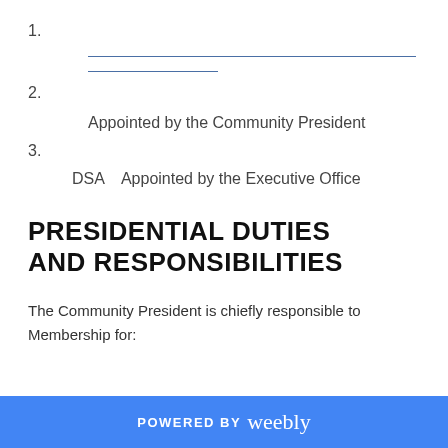1.
2.    Appointed by the Community President
3.    DSA    Appointed by the Executive Office
PRESIDENTIAL DUTIES AND RESPONSIBILITIES
The Community President is chiefly responsible to Membership for:
POWERED BY weebly